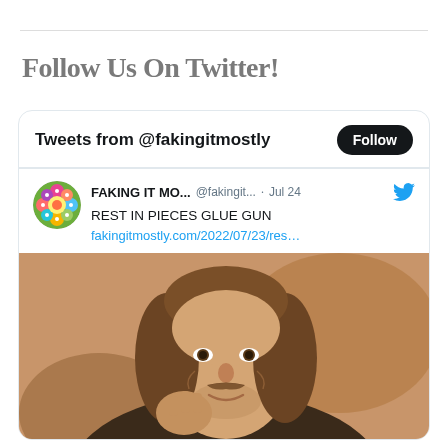Follow Us On Twitter!
[Figure (screenshot): Twitter widget showing tweets from @fakingitmostly with a Follow button, a tweet by FAKING IT MO... @fakingit... Jul 24 saying REST IN PIECES GLUE GUN with link fakingitmostly.com/2022/07/23/res... and a meme image of Boromir from Lord of the Rings smiling with his hand raised to his face]